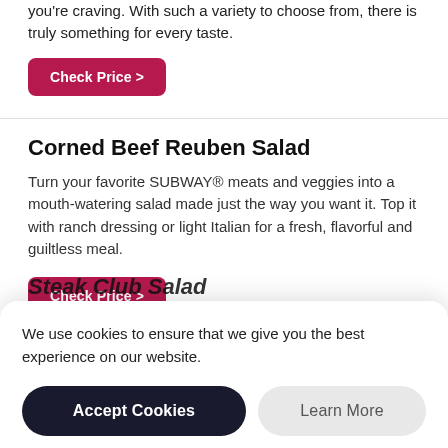you're craving. With such a variety to choose from, there is truly something for every taste.
Check Price >
Corned Beef Reuben Salad
Turn your favorite SUBWAY® meats and veggies into a mouth-watering salad made just the way you want it. Top it with ranch dressing or light Italian for a fresh, flavorful and guiltless meal.
Check Price >
Steak Club Salad
We use cookies to ensure that we give you the best experience on our website.
Accept Cookies
Learn More